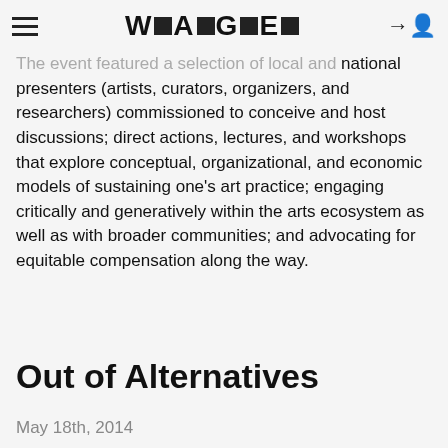W▪A▪G▪E▪
The event featured a selection of local and national presenters (artists, curators, organizers, and researchers) commissioned to conceive and host discussions; direct actions, lectures, and workshops that explore conceptual, organizational, and economic models of sustaining one's art practice; engaging critically and generatively within the arts ecosystem as well as with broader communities; and advocating for equitable compensation along the way.
Out of Alternatives
May 18th, 2014